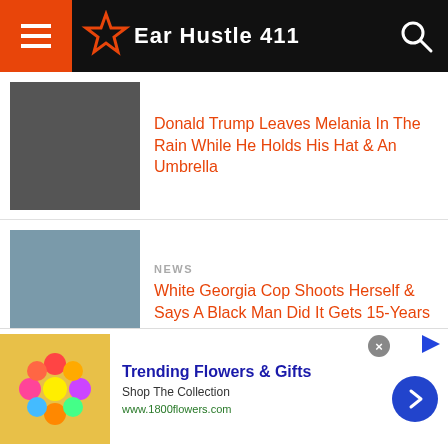Ear Hustle 411
Donald Trump Leaves Melania In The Rain While He Holds His Hat & An Umbrella
NEWS
White Georgia Cop Shoots Herself & Says A Black Man Did It Gets 15-Years
CELEBRITY NEWS
Bill Cosby Is Making Friends With Prison Staff & He Calls His Wife Daily
Trending Flowers & Gifts
Shop The Collection
www.1800flowers.com